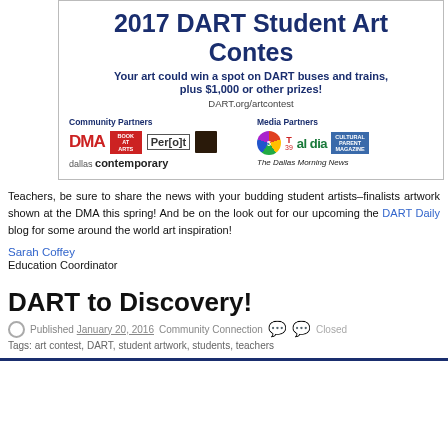[Figure (infographic): 2017 DART Student Art Contest banner with title, subtitle about winning a spot on DART buses and trains plus $1,000 or other prizes, URL DART.org/artcontest, community partners logos (DMA, Books, Perot, dark square) and media partners logos (NBC5, Telemundo 39, Al Dia, Dallas Morning News, Cultural Parent).]
Teachers, be sure to share the news with your budding student artists–finalists artwork shown at the DMA this spring! And be on the look out for our upcoming the DART Daily blog for some around the world art inspiration!
Sarah Coffey
Education Coordinator
DART to Discovery!
Published January 20, 2016  Community Connection  Closed
Tags: art contest, DART, student artwork, students, teachers